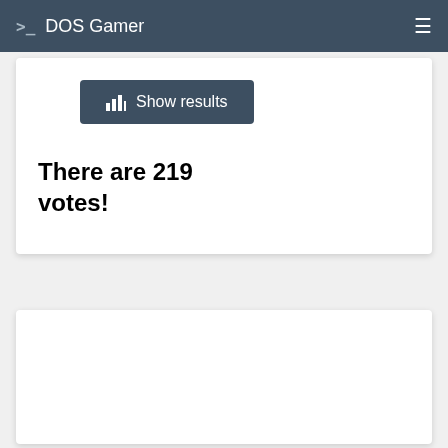>_ DOS Gamer
[Figure (screenshot): Show results button with bar chart icon on dark slate background]
There are 219 votes!
[Figure (screenshot): White card panel at bottom, mostly empty]